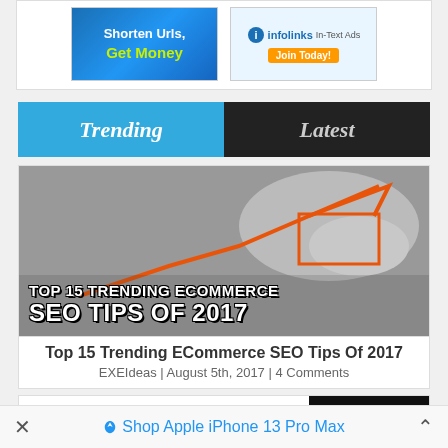[Figure (screenshot): Two advertisement banners: one 'Shorten Urls, Get Money' and one 'Infolinks In-Text Ads']
Trending | Latest
[Figure (photo): Article thumbnail: hand drawing an upward arrow chart, overlaid with text 'Top 15 Trending ECommerce SEO Tips Of 2017']
Top 15 Trending ECommerce SEO Tips Of 2017
EXEIdeas | August 5th, 2017 | 4 Comments
[Figure (screenshot): Second article thumbnail showing 'Sliding Panel From Side On' text with black image]
Shop Apple iPhone 13 Pro Max